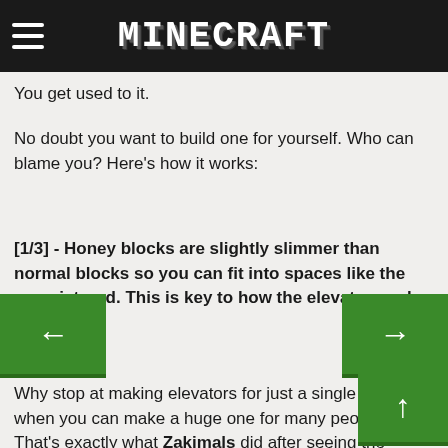hamburger MINECRAFT
You get used to it.
No doubt you want to build one for yourself. Who can blame you? Here's how it works:
[1/3] - Honey blocks are slightly slimmer than normal blocks so you can fit into spaces like the one pictured. This is key to how the elevator works.
Why stop at making elevators for just a single person when you can make a huge one for many people? That's exactly what Zakimals did after seeing the contraptions Minecrafter's had made with honey blocks on Reddit and YouTube.
#honeyblockelevatorbuildingtipsarethingsweareparticularlydifficult...